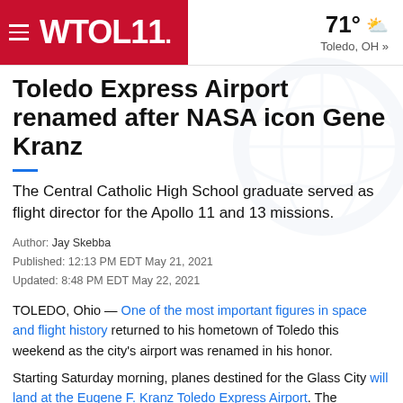WTOL 11 — 71° Toledo, OH »
Toledo Express Airport renamed after NASA icon Gene Kranz
The Central Catholic High School graduate served as flight director for the Apollo 11 and 13 missions.
Author: Jay Skebba
Published: 12:13 PM EDT May 21, 2021
Updated: 8:48 PM EDT May 22, 2021
TOLEDO, Ohio — One of the most important figures in space and flight history returned to his hometown of Toledo this weekend as the city's airport was renamed in his honor.
Starting Saturday morning, planes destined for the Glass City will land at the Eugene F. Kranz Toledo Express Airport. The renaming was made official during an invitation-only ceremony at 10 a.m.